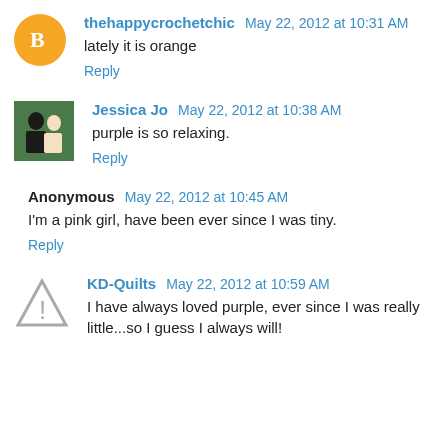thehappycrochetchic May 22, 2012 at 10:31 AM
lately it is orange
Reply
Jessica Jo May 22, 2012 at 10:38 AM
purple is so relaxing.
Reply
Anonymous May 22, 2012 at 10:45 AM
I'm a pink girl, have been ever since I was tiny.
Reply
KD-Quilts May 22, 2012 at 10:59 AM
I have always loved purple, ever since I was really little...so I guess I always will!